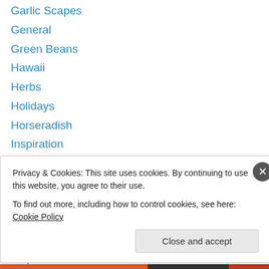Garlic Scapes
General
Green Beans
Hawaii
Herbs
Holidays
Horseradish
Inspiration
Kitchen Tips
Leeks
Lemon
Lobster
Mangoes
Maple
Privacy & Cookies: This site uses cookies. By continuing to use this website, you agree to their use. To find out more, including how to control cookies, see here: Cookie Policy
Close and accept